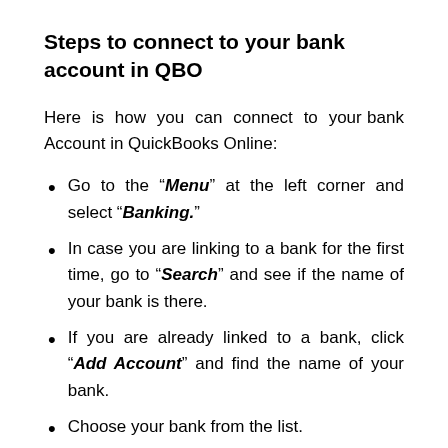Steps to connect to your bank account in QBO
Here is how you can connect to your bank Account in QuickBooks Online:
Go to the “Menu” at the left corner and select “Banking.”
In case you are linking to a bank for the first time, go to “Search” and see if the name of your bank is there.
If you are already linked to a bank, click “Add Account” and find the name of your bank.
Choose your bank from the list.
For the website of your bank, put in your